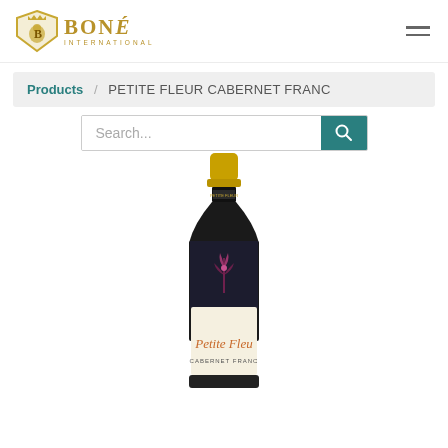[Figure (logo): Bone International logo with shield emblem and gold text]
Products / PETITE FLEUR CABERNET FRANC
Search...
[Figure (photo): Wine bottle of Petite Fleur Cabernet Franc with gold cap, dark body, and cream label showing 'Petite Fleur' in script text]